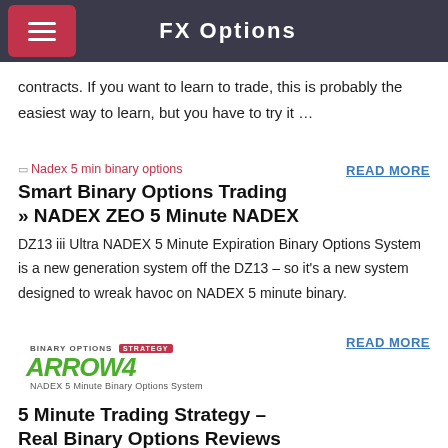FX Options
contracts. If you want to learn to trade, this is probably the easiest way to learn, but you have to try it …
[Figure (other): Nadex 5 min binary options placeholder image with red text label]
READ MORE
Smart Binary Options Trading » NADEX ZEO 5 Minute NADEX
DZ13 iii Ultra NADEX 5 Minute Expiration Binary Options System is a new generation system off the DZ13 – so it's a new system designed to wreak havoc on NADEX 5 minute binary.
[Figure (logo): ARROW4 NADEX 5 Minute Binary Options System logo in green]
READ MORE
5 Minute Trading Strategy – Real Binary Options Reviews
WHIRL6 NADEX 5 Minute Binary Options Strategy WHILR6 NADEX 5 Minute Binary Options Strategy is a tremendous opportunity for